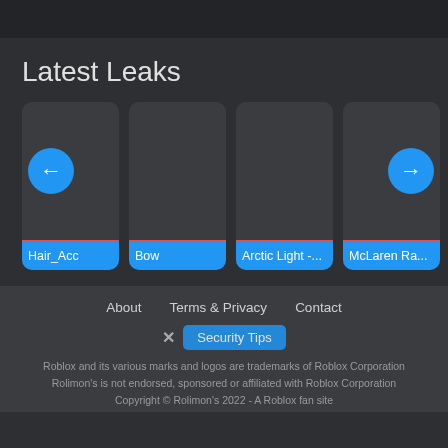Latest Leaks
[Figure (screenshot): Four card items in a horizontal row labeled Hair_Acc, Bow, Arctic Light -..., McLaren Ra... with blue labels. First card has a blue left-arrow circle, last card has a blue right-arrow circle.]
About   Terms & Privacy   Contact
Security Tips
Roblox and its various marks and logos are trademarks of Roblox Corporation
Rolimon's is not endorsed, sponsored or affiliated with Roblox Corporation
Copyright © Rolimon's 2022 - A Roblox fan site